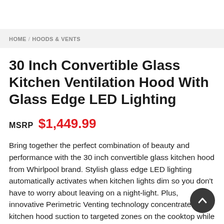HOME / HOODS & VENTS
30 Inch Convertible Glass Kitchen Ventilation Hood With Glass Edge LED Lighting
MSRP $1,449.99
Bring together the perfect combination of beauty and performance with the 30 inch convertible glass kitchen hood from Whirlpool brand. Stylish glass edge LED lighting automatically activates when kitchen lights dim so you don’t have to worry about leaving on a night-light. Plus, innovative Perimetric Venting technology concentrates kitchen hood suction to targeted zones on the cooktop while also reducing noise. It works with industry-exclusive noise reduction technology that